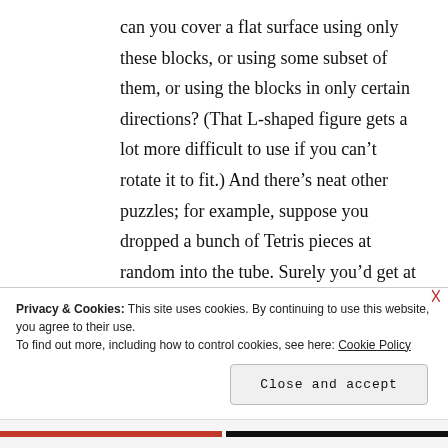can you cover a flat surface using only these blocks, or using some subset of them, or using the blocks in only certain directions? (That L-shaped figure gets a lot more difficult to use if you can't rotate it to fit.) And there's neat other puzzles; for example, suppose you dropped a bunch of Tetris pieces at random into the tube. Surely you'd get at least a handful of completed lines by luck; how many? How much empty space
Privacy & Cookies: This site uses cookies. By continuing to use this website, you agree to their use.
To find out more, including how to control cookies, see here: Cookie Policy
Close and accept